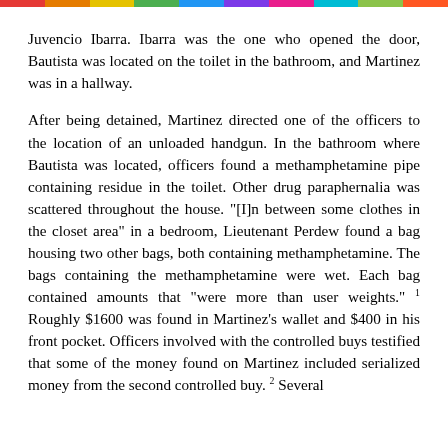Juvencio Ibarra. Ibarra was the one who opened the door, Bautista was located on the toilet in the bathroom, and Martinez was in a hallway.

After being detained, Martinez directed one of the officers to the location of an unloaded handgun. In the bathroom where Bautista was located, officers found a methamphetamine pipe containing residue in the toilet. Other drug paraphernalia was scattered throughout the house. "[I]n between some clothes in the closet area" in a bedroom, Lieutenant Perdew found a bag housing two other bags, both containing methamphetamine. The bags containing the methamphetamine were wet. Each bag contained amounts that "were more than user weights." 1 Roughly $1600 was found in Martinez's wallet and $400 in his front pocket. Officers involved with the controlled buys testified that some of the money found on Martinez included serialized money from the second controlled buy. 2 Several